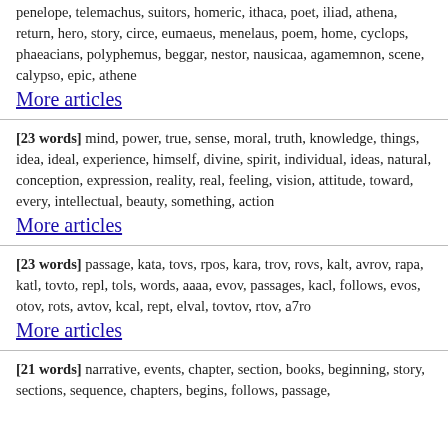penelope, telemachus, suitors, homeric, ithaca, poet, iliad, athena, return, hero, story, circe, eumaeus, menelaus, poem, home, cyclops, phaeacians, polyphemus, beggar, nestor, nausicaa, agamemnon, scene, calypso, epic, athene
More articles
[23 words] mind, power, true, sense, moral, truth, knowledge, things, idea, ideal, experience, himself, divine, spirit, individual, ideas, natural, conception, expression, reality, real, feeling, vision, attitude, toward, every, intellectual, beauty, something, action
More articles
[23 words] passage, kata, tovs, rpos, kara, trov, rovs, kalt, avrov, rapa, katl, tovto, repl, tols, words, aaaa, evov, passages, kacl, follows, evos, otov, rots, avtov, kcal, rept, elval, tovtov, rtov, a7ro
More articles
[21 words] narrative, events, chapter, section, books, beginning, story, sections, sequence, chapters, begins, follows, passage,